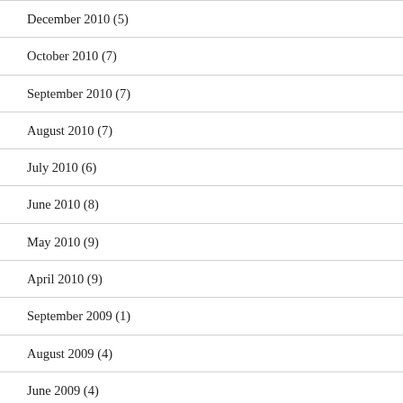December 2010 (5)
October 2010 (7)
September 2010 (7)
August 2010 (7)
July 2010 (6)
June 2010 (8)
May 2010 (9)
April 2010 (9)
September 2009 (1)
August 2009 (4)
June 2009 (4)